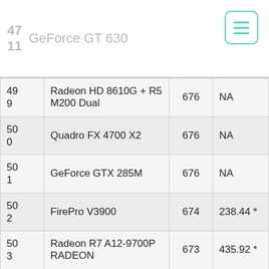GeForce GT 630
| # | Name | Score | Price |
| --- | --- | --- | --- |
| 499 | Radeon HD 8610G + R5 M200 Dual | 676 | NA |
| 500 | Quadro FX 4700 X2 | 676 | NA |
| 501 | GeForce GTX 285M | 676 | NA |
| 502 | FirePro V3900 | 674 | 238.44 * |
| 503 | Radeon R7 A12-9700P RADEON | 673 | 435.92 * |
| 504 | Intel HD 610 | 672 | NA |
| 505 | Radeon HD 7640G + HD 8500M N HD |  |  |